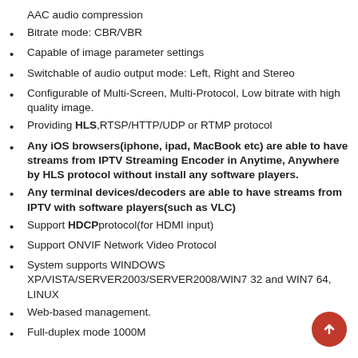AAC audio compression
Bitrate mode: CBR/VBR
Capable of image parameter settings
Switchable of audio output mode: Left, Right and Stereo
Configurable of Multi-Screen, Multi-Protocol, Low bitrate with high quality image.
Providing HLS,RTSP/HTTP/UDP or RTMP protocol
Any iOS browsers(iphone, ipad, MacBook etc) are able to have streams from IPTV Streaming Encoder in Anytime, Anywhere by HLS protocol without install any software players.
Any terminal devices/decoders are able to have streams from IPTV with software players(such as VLC)
Support HDCP protocol(for HDMI input)
Support ONVIF Network Video Protocol
System supports WINDOWS XP/VISTA/SERVER2003/SERVER2008/WIN7 32 and WIN7 64, LINUX
Web-based management.
Full-duplex mode 1000M